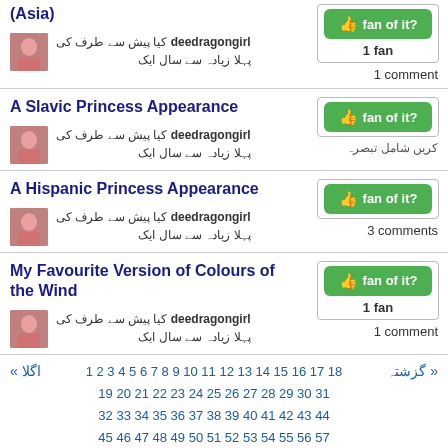(Asia)
deedragongirl کیا پیش سے طرف کی
پہلا زیادہ سے سال ایک
1 comment
A Slavic Princess Appearance
deedragongirl کیا پیش سے طرف کی
پہلا زیادہ سے سال ایک
کریں شامل تبصرہ
A Hispanic Princess Appearance
deedragongirl کیا پیش سے طرف کی
پہلا زیادہ سے سال ایک
3 comments
My Favourite Version of Colours of the Wind
deedragongirl کیا پیش سے طرف کی
پہلا زیادہ سے سال ایک
1 comment
1 2 3 4 5 6 7 8 9 10 11 12 13 14 15 16 17 18 19 20 21 22 23 24 25 26 27 28 29 30 31 32 33 34 35 36 37 38 39 40 41 42 43 44 45 46 47 48 49 50 51 52 53 54 55 56 57